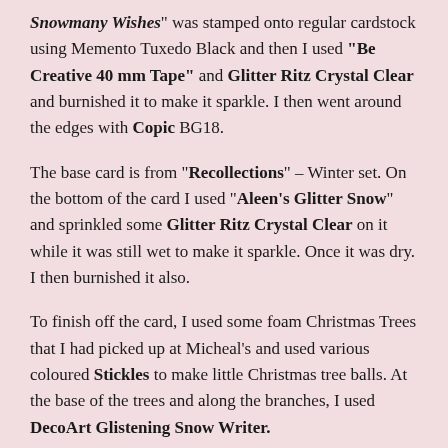"Snowmany Wishes" was stamped onto regular cardstock using Memento Tuxedo Black and then I used "Be Creative 40 mm Tape" and Glitter Ritz Crystal Clear and burnished it to make it sparkle. I then went around the edges with Copic BG18.
The base card is from "Recollections" – Winter set. On the bottom of the card I used "Aleen's Glitter Snow" and sprinkled some Glitter Ritz Crystal Clear on it while it was still wet to make it sparkle. Once it was dry. I then burnished it also.
To finish off the card, I used some foam Christmas Trees that I had picked up at Micheal's and used various coloured Stickles to make little Christmas tree balls. At the base of the trees and along the branches, I used DecoArt Glistening Snow Writer.